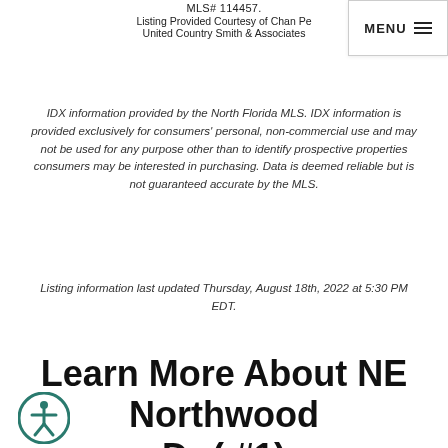MLS# 114457.
Listing Provided Courtesy of Chan Pe... United Country Smith & Associates...
IDX information provided by the North Florida MLS. IDX information is provided exclusively for consumers' personal, non-commercial use and may not be used for any purpose other than to identify prospective properties consumers may be interested in purchasing. Data is deemed reliable but is not guaranteed accurate by the MLS.
Listing information last updated Thursday, August 18th, 2022 at 5:30 PM EDT.
Learn More About NE Northwood Dr ( #1)